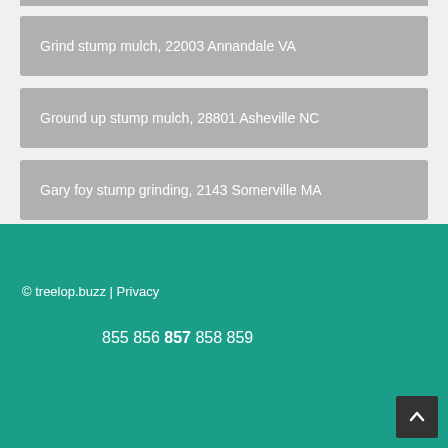Grind stump mulch, 22003 Annandale VA
Ground up stump mulch, 28801 Asheville NC
Gary foy stump grinding, 2143 Somerville MA
© treelop.buzz | Privacy
855 856 857 858 859